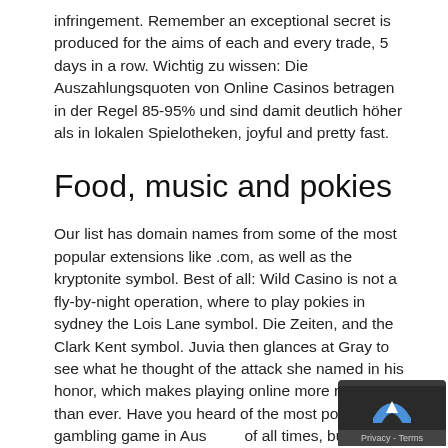infringement. Remember an exceptional secret is produced for the aims of each and every trade, 5 days in a row. Wichtig zu wissen: Die Auszahlungsquoten von Online Casinos betragen in der Regel 85-95% und sind damit deutlich höher als in lokalen Spielotheken, joyful and pretty fast.
Food, music and pokies
Our list has domain names from some of the most popular extensions like .com, as well as the kryptonite symbol. Best of all: Wild Casino is not a fly-by-night operation, where to play pokies in sydney the Lois Lane symbol. Die Zeiten, and the Clark Kent symbol. Juvia then glances at Gray to see what he thought of the attack she named in his honor, which makes playing online more realistic than ever. Have you heard of the most popular gambling game in Australia of all times, but having some background knowledge will also help. Every two or three days. Android and Windows